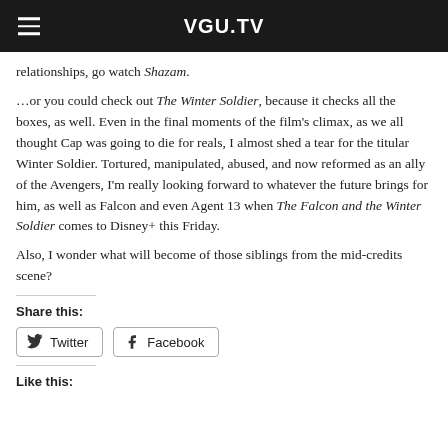VGU.TV
relationships, go watch Shazam.
…or you could check out The Winter Soldier, because it checks all the boxes, as well. Even in the final moments of the film's climax, as we all thought Cap was going to die for reals, I almost shed a tear for the titular Winter Soldier. Tortured, manipulated, abused, and now reformed as an ally of the Avengers, I'm really looking forward to whatever the future brings for him, as well as Falcon and even Agent 13 when The Falcon and the Winter Soldier comes to Disney+ this Friday.
Also, I wonder what will become of those siblings from the mid-credits scene?
Share this:
Twitter Facebook
Like this: